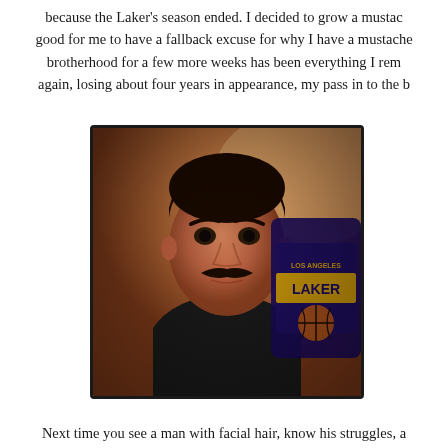because the Laker's season ended. I decided to grow a mustac good for me to have a fallback excuse for why I have a mustache brotherhood for a few more weeks has been everything I rem again, losing about four years in appearance, my pass in to the b
[Figure (photo): A young man with a mustache holding a Los Angeles Lakers cap/item, selfie-style photo with warm orange/brown tones]
Next time you see a man with facial hair, know his struggles, a